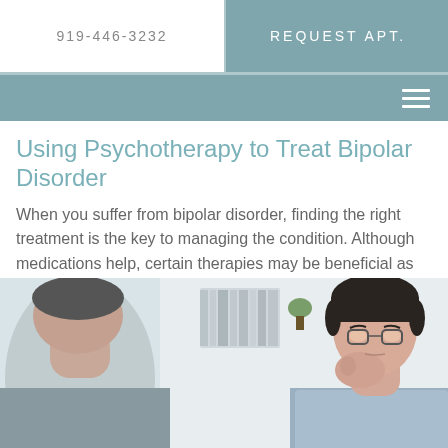919-446-3232
REQUEST APT.
Using Psychotherapy to Treat Bipolar Disorder
When you suffer from bipolar disorder, finding the right treatment is the key to managing the condition. Although medications help, certain therapies may be beneficial as well. Keep reading to learn how psychotherapy can help with bipolar disorder.
[Figure (photo): A therapy session showing two people, one seen from behind in the foreground and a man with glasses and short dark hair in the background, looking downward with his hand near his chin, in a bright office setting with bookshelves.]